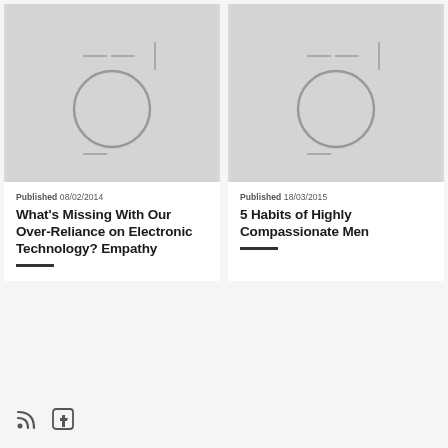[Figure (illustration): Placeholder image with grey background and camera/image icon (circle with crosshairs) for article card 1]
Published 08/02/2014
What’s Missing With Our Over-Reliance on Electronic Technology? Empathy
[Figure (illustration): Placeholder image with grey background and camera/image icon (circle with crosshairs) for article card 2]
Published 18/03/2015
5 Habits of Highly Compassionate Men
[Figure (other): RSS feed icon and Facebook icon in page footer area]